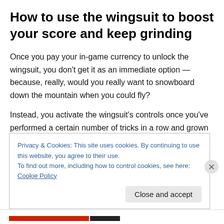How to use the wingsuit to boost your score and keep grinding
Once you pay your in-game currency to unlock the wingsuit, you don't get it as an immediate option — because, really, would you really want to snowboard down the mountain when you could fly?
Instead, you activate the wingsuit's controls once you've performed a certain number of tricks in a row and grown
Privacy & Cookies: This site uses cookies. By continuing to use this website, you agree to their use.
To find out more, including how to control cookies, see here: Cookie Policy